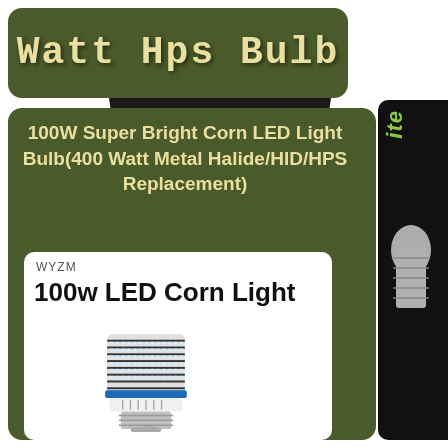Watt Hps Bulb
100W Super Bright Corn LED Light Bulb(400 Watt Metal Halide/HID/HPS Replacement)
[Figure (photo): WYZM 100w LED Corn Light bulb product image — cylindrical corn LED bulb with blue band and E39 base, covered in rows of small LED chips]
WYZM
100w LED Corn Light